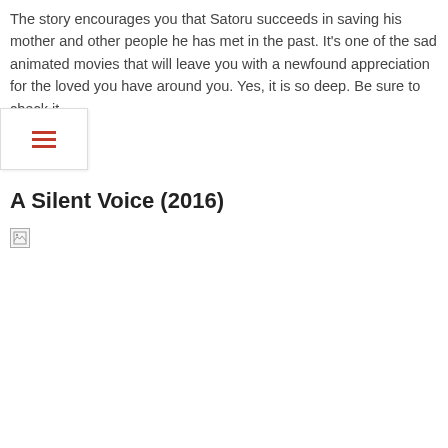The story encourages you that Satoru succeeds in saving his mother and other people he has met in the past. It's one of the sad animated movies that will leave you with a newfound appreciation for the loved you have around you. Yes, it is so deep. Be sure to check it
A Silent Voice (2016)
[Figure (photo): Broken image placeholder for A Silent Voice (2016) with image caption text 'A Silent Voice (20...' on the right side]